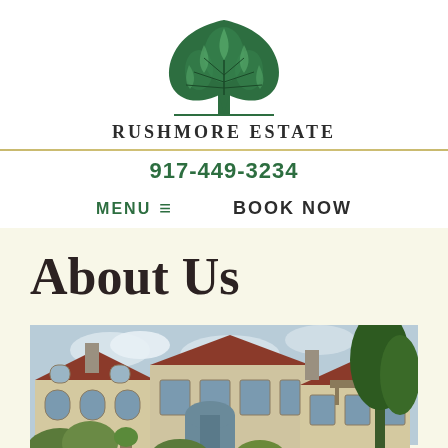[Figure (logo): Rushmore Estate logo: green semicircular tree illustration with branches spreading upward]
RUSHMORE ESTATE
917-449-3234
MENU ≡    BOOK NOW
About Us
[Figure (photo): Exterior photo of the Rushmore Estate building, a large historic mansion with stucco walls, arched windows, red tile roofs, chimneys, and surrounding trees and landscaping]